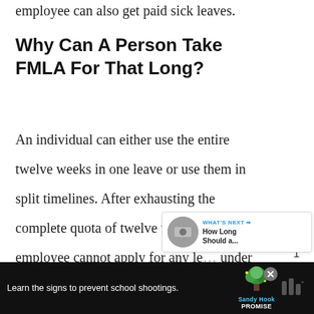employee can also get paid sick leaves.
Why Can A Person Take FMLA For That Long?
An individual can either use the entire twelve weeks in one leave or use them in split timelines. After exhausting the complete quota of twelve weeks, the employee cannot apply for any le... under this act. However, if the employer
[Figure (screenshot): Social sidebar with heart/like button showing count of 1 and a share button]
[Figure (screenshot): What's Next card showing 'WHAT'S NEXT' label with arrow and title 'How Long Should a...' with a circular thumbnail image]
[Figure (screenshot): Advertisement banner at the bottom: 'Learn the signs to prevent school shootings.' with Sandy Hook Promise logo and close button]